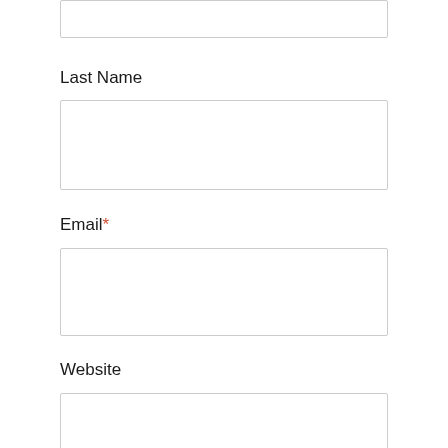[Figure (screenshot): Partial input box from a form field at the top of the page (cropped, showing only the bottom portion of a text input field)]
Last Name
[Figure (screenshot): Empty text input box for Last Name field]
Email*
[Figure (screenshot): Empty text input box for Email field]
Website
[Figure (screenshot): Empty text input box for Website field (partially visible, cropped at bottom)]